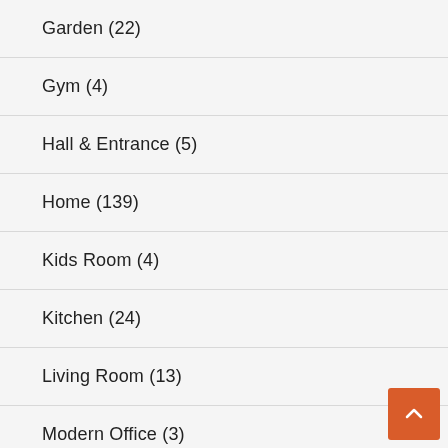Garden (22)
Gym (4)
Hall & Entrance (5)
Home (139)
Kids Room (4)
Kitchen (24)
Living Room (13)
Modern Office (3)
Office (11)